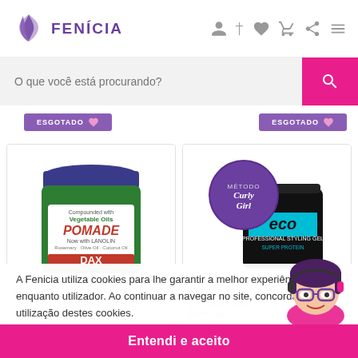[Figure (screenshot): Fenicia e-commerce website header with purple logo (stylized hair/leaves icon) and site name FENÍCIA, plus navigation icons (user, heart, cart, share, menu)]
[Figure (screenshot): Search bar with placeholder text 'O que você está procurando?' and pink search button]
[Figure (screenshot): Two product cards: left shows Dax V.Oil Pommade with Vegetable Oils jar; right shows Eco Styler Super Protein with Curly Girl method badge. Cookie consent overlay visible at bottom with accept button.]
A Fenicia utiliza cookies para lhe garantir a melhor experiência enquanto utilizador. Ao continuar a navegar no site, concorda com a utilização destes cookies.
Política de privacidade
Entendi e aceito